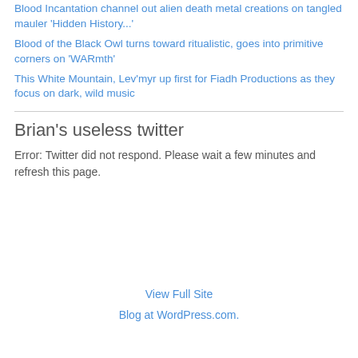Blood Incantation channel out alien death metal creations on tangled mauler 'Hidden History...'
Blood of the Black Owl turns toward ritualistic, goes into primitive corners on 'WARmth'
This White Mountain, Lev'myr up first for Fiadh Productions as they focus on dark, wild music
Brian's useless twitter
Error: Twitter did not respond. Please wait a few minutes and refresh this page.
View Full Site
Blog at WordPress.com.